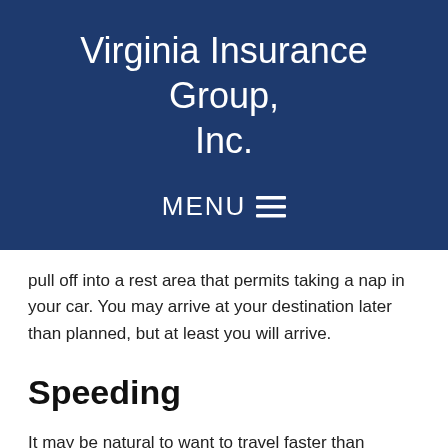Virginia Insurance Group, Inc.
MENU
pull off into a rest area that permits taking a nap in your car. You may arrive at your destination later than planned, but at least you will arrive.
Speeding
It may be natural to want to travel faster than